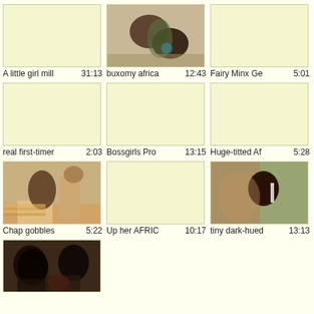[Figure (screenshot): Video thumbnail grid showing 10 video thumbnails with titles and durations. Row 1: 'A little girl mill' 31:13, 'buxomy africa' 12:43, 'Fairy Minx Ge' 5:01. Row 2: 'real first-timer' 2:03, 'Bossgirls Pro' 13:15, 'Huge-titted Af' 5:28. Row 3: 'Chap gobbles' 5:22, 'Up her AFRIC' 10:17, 'tiny dark-hued' 13:13. Row 4: one thumbnail (partial).]